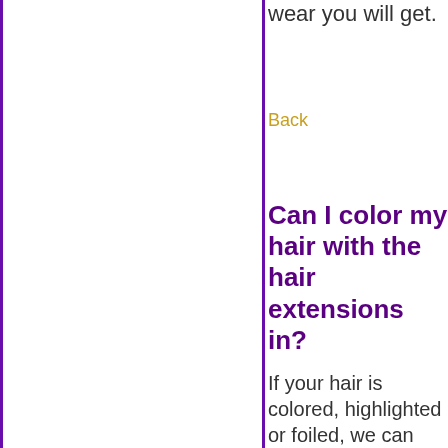amount of great wear you will get.
Back
Can I color my hair with the hair extensions in?
If your hair is colored, highlighted or foiled, we can easily match the color of hair extensions to put in You color will be